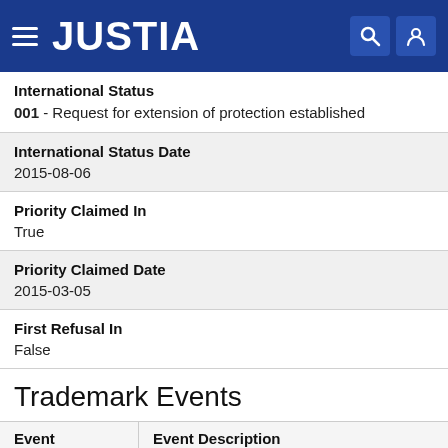JUSTIA
International Status
001 - Request for extension of protection established
International Status Date
2015-08-06
Priority Claimed In
True
Priority Claimed Date
2015-03-05
First Refusal In
False
Trademark Events
| Event | Event Description |
| --- | --- |